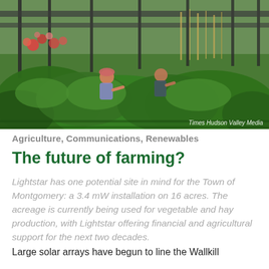[Figure (photo): Two farmers working among lush green vegetable rows under a solar panel canopy structure. Colorful flowers visible in background. Photo credit: Times Hudson Valley Media]
Agriculture, Communications, Renewables
The future of farming?
Lightstar has one potential site in mind for the Town of Montgomery: a 3.4 mW installation on 16 acres. The acreage is currently being used for vegetable and hay production, with Lightstar offering financial and agricultural support for the next two decades.
Large solar arrays have begun to line the Wallkill Valley landscapes. Solar farms are appearing in...